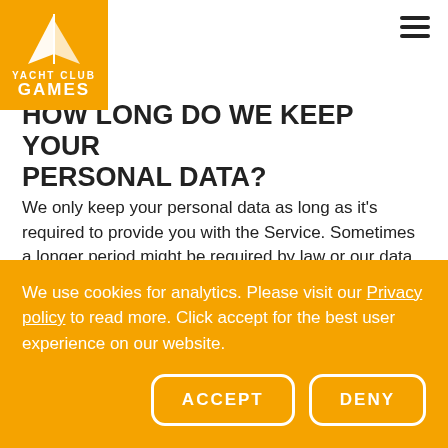Yacht Club Games — navigation header with logo
HOW LONG DO WE KEEP YOUR PERSONAL DATA?
We only keep your personal data as long as it's required to provide you with the Service. Sometimes a longer period might be required by law or our data retention policies related to providing customer service and support.
After that, we will delete your personal data within
We use cookies for analytics. Please visit our Privacy policy to read more. Click accept for the best user experience on our website.